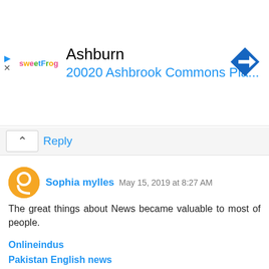[Figure (infographic): Advertisement banner for Sweet Frog at Ashburn, 20020 Ashbrook Commons Pla... with navigation icon]
Reply
Sophia mylles May 15, 2019 at 8:27 AM
The great things about News became valuable to most of people.
Onlineindus
Pakistan English news
Pakistan Breaking news
Pakistan Latest news
Pakistan Update news
Today World news
Today Pakistan news
Pakistan Education news
Technology news
Pakistan Technology news